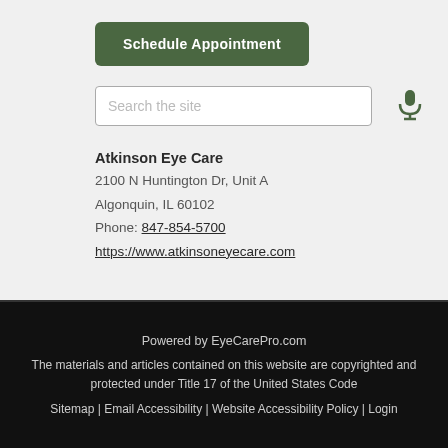Schedule Appointment
Search the site
Atkinson Eye Care
2100 N Huntington Dr, Unit A
Algonquin, IL 60102
Phone: 847-854-5700
https://www.atkinsoneyecare.com
Powered by EyeCarePro.com
The materials and articles contained on this website are copyrighted and protected under Title 17 of the United States Code
Sitemap | Email Accessibility | Website Accessibility Policy | Login